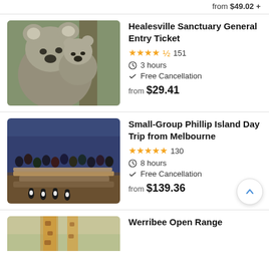from $49.02 +
[Figure (photo): Close-up photo of two koalas huddled together in a tree]
Healesville Sanctuary General Entry Ticket
★★★★½ 151
3 hours
Free Cancellation
from $29.41
[Figure (photo): Crowd of people watching penguins at Phillip Island at dusk]
Small-Group Phillip Island Day Trip from Melbourne
★★★★★ 130
8 hours
Free Cancellation
from $139.36
[Figure (photo): Giraffe photo partially visible at bottom of page]
Werribee Open Range